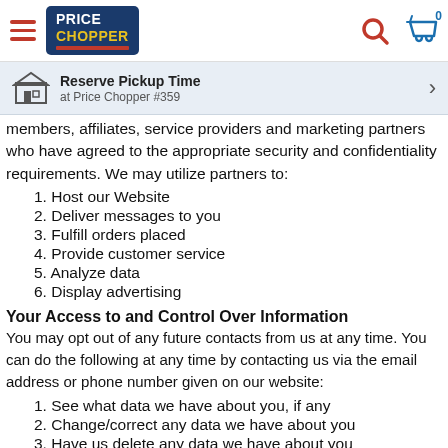Price Chopper - Reserve Pickup Time at Price Chopper #359
members, affiliates, service providers and marketing partners who have agreed to the appropriate security and confidentiality requirements. We may utilize partners to:
1. Host our Website
2. Deliver messages to you
3. Fulfill orders placed
4. Provide customer service
5. Analyze data
6. Display advertising
Your Access to and Control Over Information
You may opt out of any future contacts from us at any time. You can do the following at any time by contacting us via the email address or phone number given on our website:
1. See what data we have about you, if any
2. Change/correct any data we have about you
3. Have us delete any data we have about you
4. Express any concern you have about our use of your data